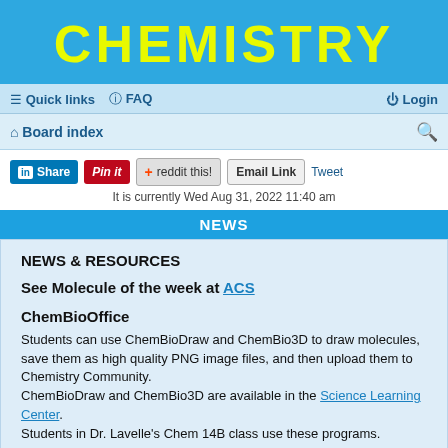CHEMISTRY
≡ Quick links  FAQ    Login
Board index
[Figure (screenshot): Social sharing buttons: LinkedIn Share, Pinterest Pin it, Reddit this!, Email Link, Tweet]
It is currently Wed Aug 31, 2022 11:40 am
NEWS
NEWS & RESOURCES
See Molecule of the week at ACS
ChemBioOffice
Students can use ChemBioDraw and ChemBio3D to draw molecules, save them as high quality PNG image files, and then upload them to Chemistry Community.
ChemBioDraw and ChemBio3D are available in the Science Learning Center.
Students in Dr. Lavelle's Chem 14B class use these programs.
Applying Science to Society: AAAS Science & Technology Policy Fellowships